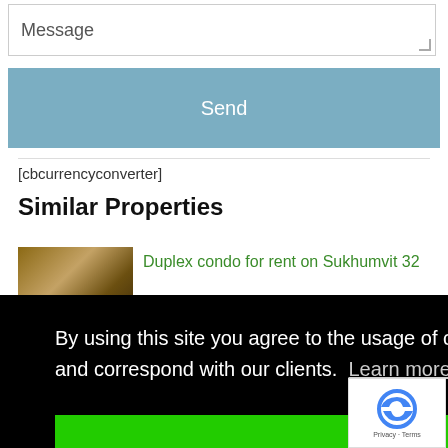Message
Send
[cbcurrencyconverter]
Similar Properties
[Figure (photo): Thumbnail photo of a duplex condo interior]
Duplex condo for rent on Sukhumvit 32
By using this site you agree to the usage of cookies to collect website traffic data and correspond with our clients.  Learn more
Got it!
[Figure (photo): Thumbnail photo of property near Sathorn, Bangkok]
Sathorn, Bangkok, Thailand